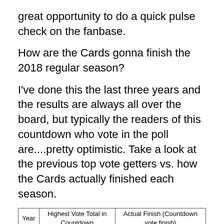great opportunity to do a quick pulse check on the fanbase.
How are the Cards gonna finish the 2018 regular season?
I've done this the last three years and the results are always all over the board, but typically the readers of this countdown who vote in the poll are....pretty optimistic. Take a look at the previous top vote getters vs. how the Cards actually finished each season.
| Year | Highest Vote Total in Countdown | Actual Finish (Countdown vote finish) |
| --- | --- | --- |
| 2015 | 9-3, grabbed 34% of the vote | 7-5, 2% of the vote (6th out of 6 choices) |
| 2016 | 10-2, grabbed 49% of the vote | 9-3, 19% of the vote (2nd) |
| 2017 | 10-2, grabbed 41% of the vote | 8-4, 5% of the vote(5th) |
The majority vote getter has never nailed it on the head, and all three years we've overshot the real...